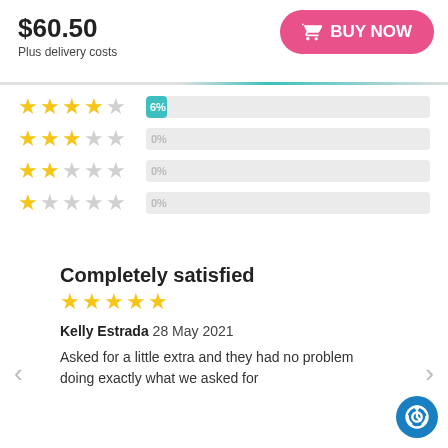$60.50
Plus delivery costs
[Figure (other): Pink BUY NOW button with shopping cart icon]
[Figure (bar-chart): Star rating distribution]
Completely satisfied
Kelly Estrada 28 May 2021
Asked for a little extra and they had no problem doing exactly what we asked for